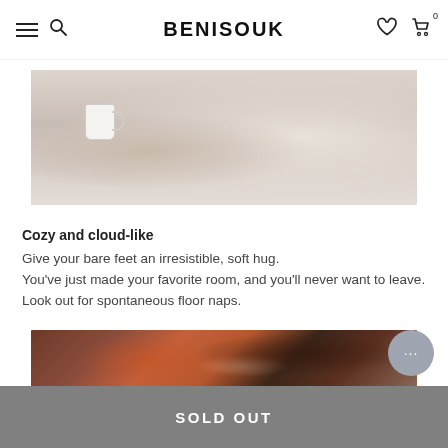BENISOUK
[Figure (photo): Person sitting on a white fluffy rug wearing a cream knit sweater, holding a white mug]
Cozy and cloud-like
Give your bare feet an irresistible, soft hug.
You've just made your favorite room, and you'll never want to leave. Look out for spontaneous floor naps.
[Figure (photo): Partial view of colorful patterned rugs in dark red/orange tones]
SOLD OUT